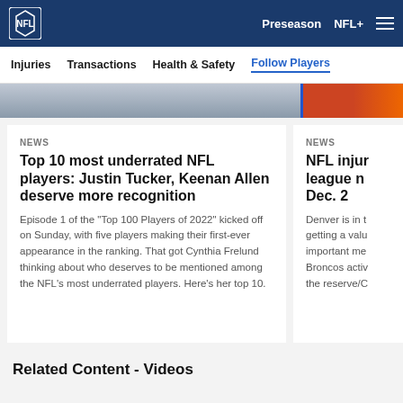NFL — Preseason  NFL+
Injuries  Transactions  Health & Safety  Follow Players
NEWS
Top 10 most underrated NFL players: Justin Tucker, Keenan Allen deserve more recognition
Episode 1 of the "Top 100 Players of 2022" kicked off on Sunday, with five players making their first-ever appearance in the ranking. That got Cynthia Frelund thinking about who deserves to be mentioned among the NFL's most underrated players. Here's her top 10.
NEWS
NFL injur league n Dec. 2
Denver is in t getting a valu important me Broncos activ the reserve/C
Related Content - Videos